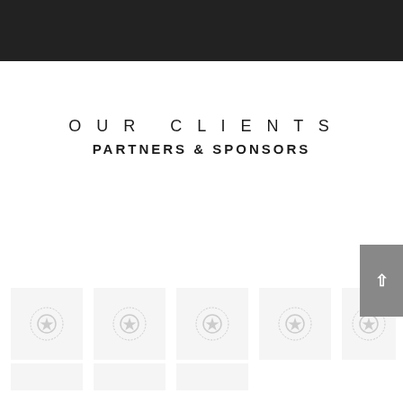OUR CLIENTS
PARTNERS & SPONSORS
[Figure (illustration): Row of five placeholder logo boxes with star/laurel wreath icons on light grey backgrounds]
[Figure (illustration): Partial bottom row of logo placeholder boxes]